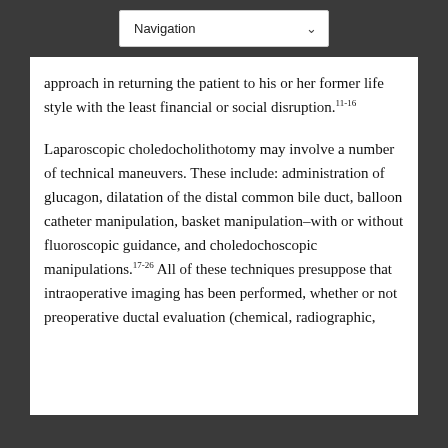Navigation
approach in returning the patient to his or her former life style with the least financial or social disruption.11-16
Laparoscopic choledocholithotomy may involve a number of technical maneuvers. These include: administration of glucagon, dilatation of the distal common bile duct, balloon catheter manipulation, basket manipulation–with or without fluoroscopic guidance, and choledochoscopic manipulations.17-26 All of these techniques presuppose that intraoperative imaging has been performed, whether or not preoperative ductal evaluation (chemical, radiographic,